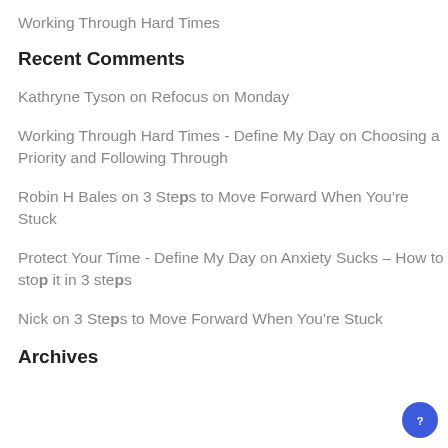Working Through Hard Times
Recent Comments
Kathryne Tyson on Refocus on Monday
Working Through Hard Times - Define My Day on Choosing a Priority and Following Through
Robin H Bales on 3 Steps to Move Forward When You're Stuck
Protect Your Time - Define My Day on Anxiety Sucks – How to stop it in 3 steps
Nick on 3 Steps to Move Forward When You're Stuck
Archives